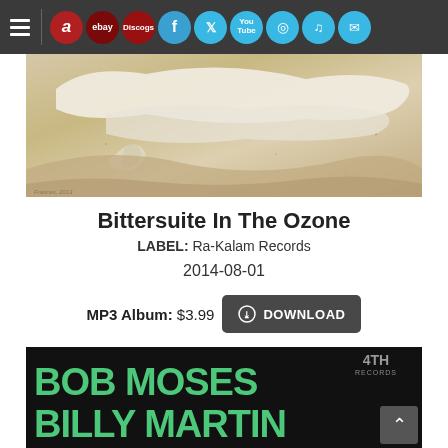[Figure (screenshot): Website navigation bar with hamburger menu, Amazon, eBay, Discogs icons and social media icons (Facebook, Twitter, YouTube, Instagram, TikTok, Email)]
[Figure (photo): Album cover art for Bittersuite In The Ozone - abstract beige/cream colored landscape with white cloud-like shapes]
Bittersuite In The Ozone
LABEL: Ra-Kalam Records
2014-08-01
MP3 Album: $3.99  DOWNLOAD
[Figure (photo): Album cover for Bob Moses / Billy Martin - dark background with green graffiti-style text reading BOB MOSES BILLY MARTIN with 4TH Records badge]